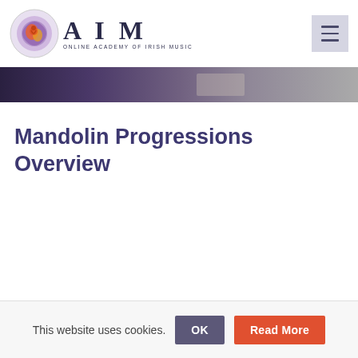AIM Online Academy of Irish Music
[Figure (screenshot): AIM Online Academy of Irish Music logo with circular Celtic design and navigation hamburger menu button]
[Figure (photo): Dark banner strip with blurred background image]
Mandolin Progressions Overview
This website uses cookies.
OK
Read More